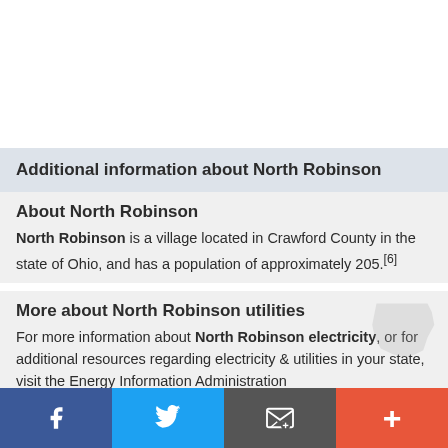Additional information about North Robinson
About North Robinson
North Robinson is a village located in Crawford County in the state of Ohio, and has a population of approximately 205.[6]
More about North Robinson utilities
For more information about North Robinson electricity, or for additional resources regarding electricity & utilities in your state, visit the Energy Information Administration
Facebook | Twitter | Email | +